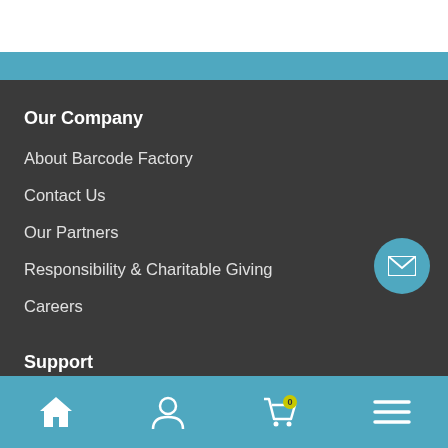Our Company
About Barcode Factory
Contact Us
Our Partners
Responsibility & Charitable Giving
Careers
Support
Return Policy
Home | Account | Cart | Menu